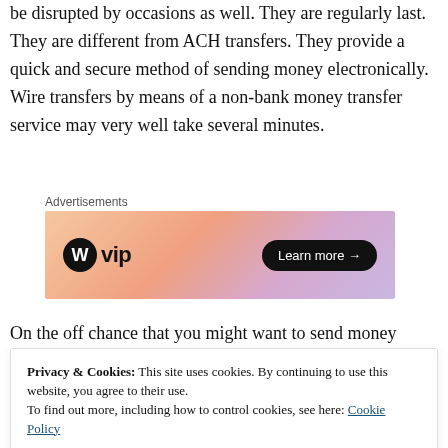be disrupted by occasions as well. They are regularly last. They are different from ACH transfers. They provide a quick and secure method of sending money electronically. Wire transfers by means of a non-bank money transfer service may very well take several minutes.
[Figure (other): WordPress VIP advertisement banner with orange/pink gradient background and 'Learn more →' button]
On the off chance that you might want to send money
Privacy & Cookies: This site uses cookies. By continuing to use this website, you agree to their use. To find out more, including how to control cookies, see here: Cookie Policy Close and accept